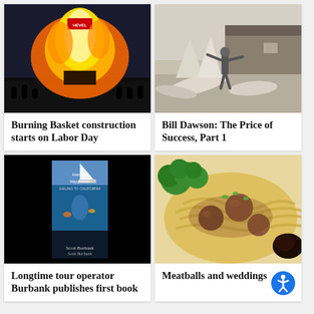[Figure (photo): Large bonfire with flames and crowd at night, sign visible at top]
Burning Basket construction starts on Labor Day
[Figure (photo): Black and white historical photo of person with tent or canvas near a barn]
Bill Dawson: The Price of Success, Part 1
[Figure (photo): Book cover for Interior Waypoints: Sailing to Californ by Scott Burbank, with sailboat and underwater scene, against black background]
Longtime tour operator Burbank publishes first book
[Figure (photo): Overhead photo of meatballs with noodles, broccoli, and sauce on a plate]
Meatballs and weddings